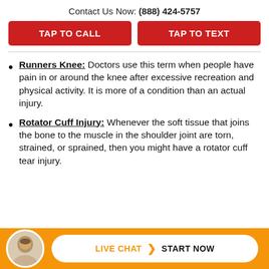Contact Us Now: (888) 424-5757
TAP TO CALL
TAP TO TEXT
Runners Knee: Doctors use this term when people have pain in or around the knee after excessive recreation and physical activity. It is more of a condition than an actual injury.
Rotator Cuff Injury: Whenever the soft tissue that joins the bone to the muscle in the shoulder joint are torn, strained, or sprained, then you might have a rotator cuff tear injury.
LIVE CHAT > START NOW